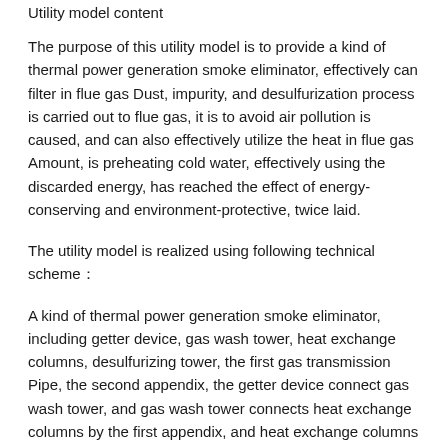Utility model content
The purpose of this utility model is to provide a kind of thermal power generation smoke eliminator, effectively can filter in flue gas Dust, impurity, and desulfurization process is carried out to flue gas, it is to avoid air pollution is caused, and can also effectively utilize the heat in flue gas Amount, is preheating cold water, effectively using the discarded energy, has reached the effect of energy-conserving and environment-protective, twice laid.
The utility model is realized using following technical scheme：
A kind of thermal power generation smoke eliminator, including getter device, gas wash tower, heat exchange columns, desulfurizing tower, the first gas transmission Pipe, the second appendix, the getter device connect gas wash tower, and gas wash tower connects heat exchange columns by the first appendix, and heat exchange columns lead to Cross the second appendix connection desulfurizing tower：
The getter device is made up of air intake duct, induced-